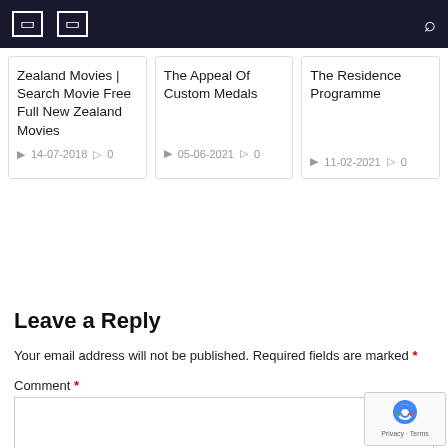Navigation bar with menu icons and search icon
Zealand Movies | Search Movie Free Full New Zealand Movies
14-07-2018  0
The Appeal Of Custom Medals
05-06-2021  0
The Residence Programme
11-02-2021  0
Leave a Reply
Your email address will not be published. Required fields are marked *
Comment *